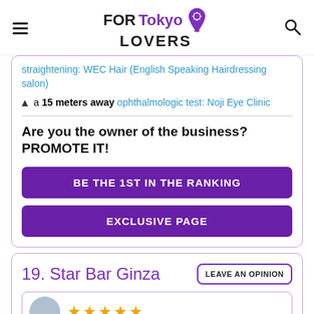FORTokyo LOVERS
straightening: WEC Hair (English Speaking Hairdressing salon)
a 15 meters away ophthalmologic test: Noji Eye Clinic
Are you the owner of the business? PROMOTE IT!
BE THE 1ST IN THE RANKING
EXCLUSIVE PAGE
19. Star Bar Ginza
LEAVE AN OPINION